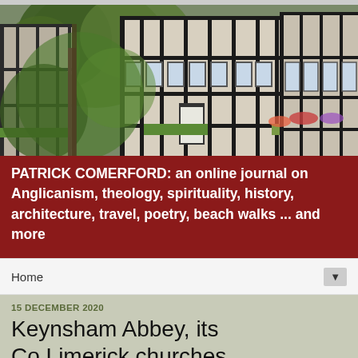[Figure (photo): Photograph of Tudor-style black-and-white timber-framed buildings with green trees and flowering plants in front]
PATRICK COMERFORD: an online journal on Anglicanism, theology, spirituality, history, architecture, travel, poetry, beach walks ... and more
Home ▼
15 DECEMBER 2020
Keynsham Abbey, its Co Limerick churches, and legends about the